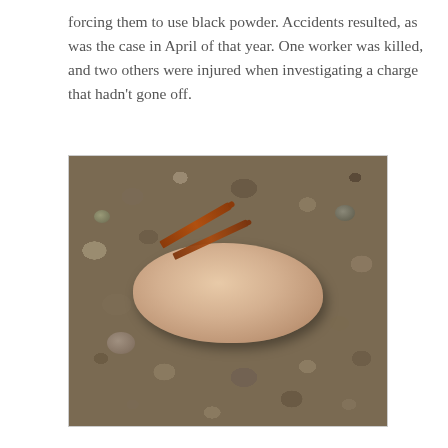forcing them to use black powder. Accidents resulted, as was the case in April of that year. One worker was killed, and two others were injured when investigating a charge that hadn't gone off.
[Figure (photo): A photograph of a smooth, oval-shaped sandstone rock resting on gravel. On top of the rock lie two rusty iron railroad spikes or nails arranged diagonally. The rock appears to have faint markings or engravings on its surface.]